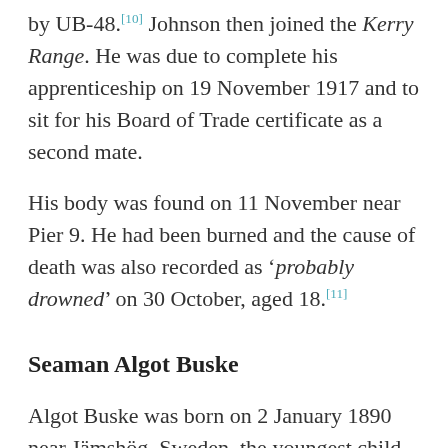by UB-48.[10] Johnson then joined the Kerry Range. He was due to complete his apprenticeship on 19 November 1917 and to sit for his Board of Trade certificate as a second mate.
His body was found on 11 November near Pier 9. He had been burned and the cause of death was also recorded as 'probably drowned' on 30 October, aged 18.[11]
Seaman Algot Buske
Algot Buske was born on 2 January 1890 near Jämshög, Sweden, the youngest child, and third son, of Sven Svensson Buske, who was a seaman (Båtsman) in the Swedish Navy, and Hanna Johansdotter.[12][13]